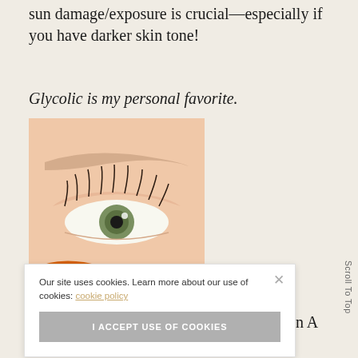sun damage/exposure is crucial—especially if you have darker skin tone!
Glycolic is my personal favorite.
[Figure (photo): Close-up photo of a human eye with long lashes, light skin, and an orange object partially visible at the lower portion of the image.]
Our site uses cookies. Learn more about our use of cookies: cookie policy
I ACCEPT USE OF COOKIES
Retinol– Retinol is a derivative of Vitamin A and is